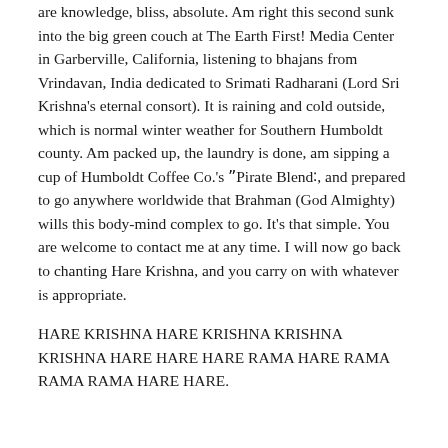are knowledge, bliss, absolute. Am right this second sunk into the big green couch at The Earth First! Media Center in Garberville, California, listening to bhajans from Vrindavan, India dedicated to Srimati Radharani (Lord Sri Krishna’s eternal consort). It is raining and cold outside, which is normal winter weather for Southern Humboldt county. Am packed up, the laundry is done, am sipping a cup of Humboldt Coffee Co.’s ʾPirate Blendʸ, and prepared to go anywhere worldwide that Brahman (God Almighty) wills this body-mind complex to go. It’s that simple. You are welcome to contact me at any time. I will now go back to chanting Hare Krishna, and you carry on with whatever is appropriate.
HARE KRISHNA HARE KRISHNA KRISHNA KRISHNA HARE HARE HARE RAMA HARE RAMA RAMA RAMA HARE HARE.